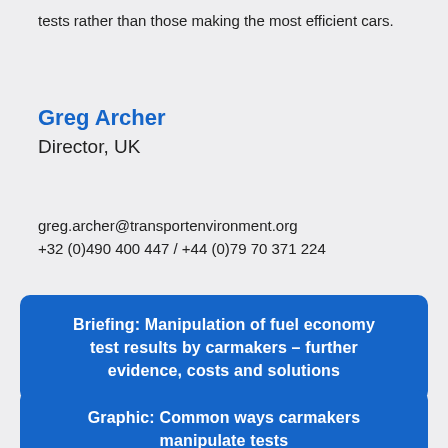tests rather than those making the most efficient cars.
Greg Archer
Director, UK
greg.archer@transportenvironment.org
+32 (0)490 400 447 / +44 (0)79 70 371 224
Briefing: Manipulation of fuel economy test results by carmakers – further evidence, costs and solutions
Graphic: Common ways carmakers manipulate tests